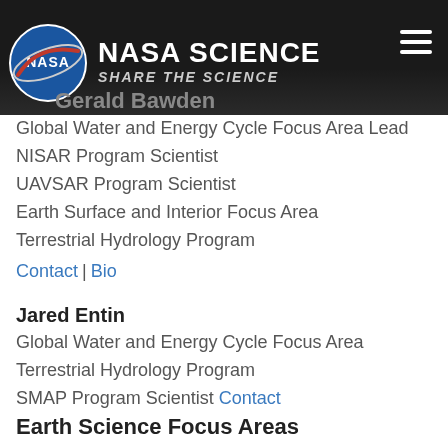NASA SCIENCE SHARE THE SCIENCE
Gerald Bawden
Global Water and Energy Cycle Focus Area Lead
NISAR Program Scientist
UAVSAR Program Scientist
Earth Surface and Interior Focus Area
Terrestrial Hydrology Program
Contact | Bio
Jared Entin
Global Water and Energy Cycle Focus Area
Terrestrial Hydrology Program
SMAP Program Scientist Contact
Earth Science Focus Areas